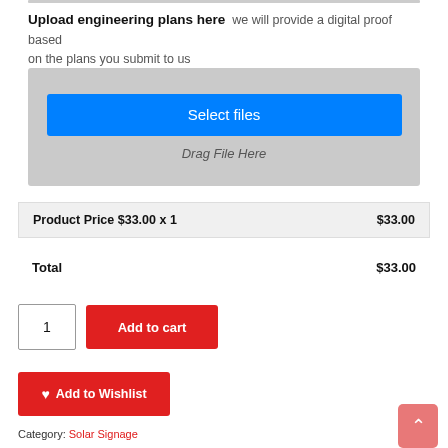Upload engineering plans here  we will provide a digital proof based on the plans you submit to us
[Figure (screenshot): File upload widget with a blue 'Select files' button and 'Drag File Here' text on a grey background]
Product Price $33.00 x 1   $33.00
Total   $33.00
1   Add to cart
Add to Wishlist
Category: Solar Signage